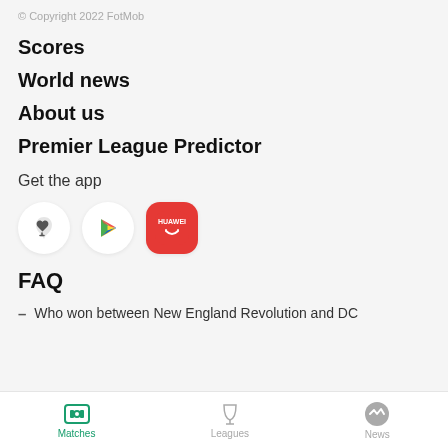© Copyright 2022 FotMob
Scores
World news
About us
Premier League Predictor
Get the app
[Figure (logo): App store icons row: Apple App Store (circle with Apple logo), Google Play (triangle play icon), Huawei AppGallery (red rounded square with smile icon)]
FAQ
Who won between New England Revolution and DC
Matches   Leagues   News